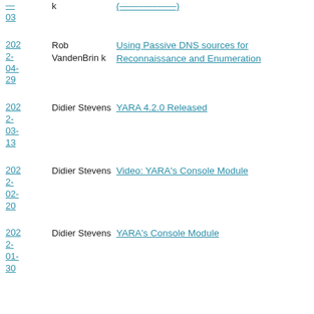| Date | Author | Title |
| --- | --- | --- |
| (truncated) | VandenBrink | (truncated) |
| 2022-04-29 | Rob VandenBrink | Using Passive DNS sources for Reconnaissance and Enumeration |
| 2022-03-13 | Didier Stevens | YARA 4.2.0 Released |
| 2022-02-20 | Didier Stevens | Video: YARA's Console Module |
| 2022-01-30 | Didier Stevens | YARA's Console Module |